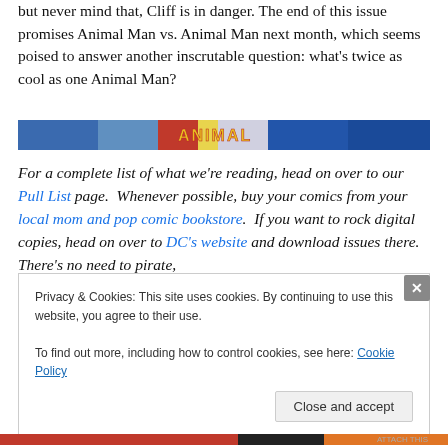but never mind that, Cliff is in danger. The end of this issue promises Animal Man vs. Animal Man next month, which seems poised to answer another inscrutable question: what's twice as cool as one Animal Man?
[Figure (illustration): Colorful comic book banner strip showing superhero artwork with bright colors including blue, red and yellow.]
For a complete list of what we're reading, head on over to our Pull List page.  Whenever possible, buy your comics from your local mom and pop comic bookstore.  If you want to rock digital copies, head on over to DC's website and download issues there.  There's no need to pirate,
Privacy & Cookies: This site uses cookies. By continuing to use this website, you agree to their use.
To find out more, including how to control cookies, see here: Cookie Policy
Close and accept